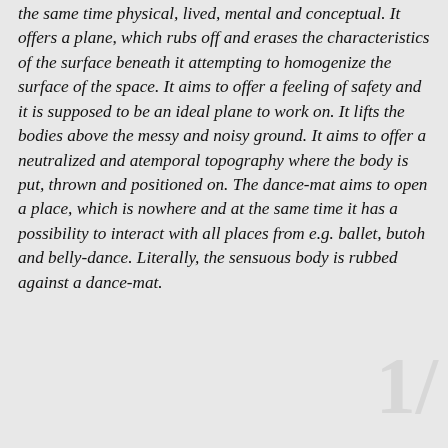the same time physical, lived, mental and conceptual. It offers a plane, which rubs off and erases the characteristics of the surface beneath it attempting to homogenize the surface of the space. It aims to offer a feeling of safety and it is supposed to be an ideal plane to work on. It lifts the bodies above the messy and noisy ground. It aims to offer a neutralized and atemporal topography where the body is put, thrown and positioned on. The dance-mat aims to open a place, which is nowhere and at the same time it has a possibility to interact with all places from e.g. ballet, butoh and belly-dance. Literally, the sensuous body is rubbed against a dance-mat.